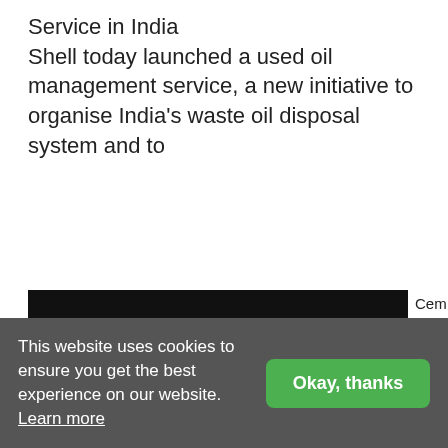Service in India
Shell today launched a used oil management service, a new initiative to organise India's waste oil disposal system and to
[Figure (logo): Development Alternatives logo with green star, bold text 'Development Alternatives', gold underline, and tagline 'eco-solutions for people and the planet' on a black background]
Cement Sector Decarbonisation In
This website uses cookies to ensure you get the best experience on our website. Learn more
Okay, thanks